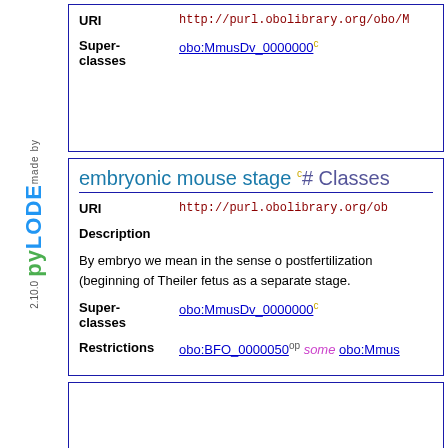[Figure (logo): pyLODE 2.10.0 logo in sidebar, vertical text reading 'made by pyLODE 2.10.0']
| Field | Value |
| --- | --- |
| URI | http://purl.obolibrary.org/obo/M... |
| Super-classes | obo:MmusDv_0000000 c |
embryonic mouse stage c# Classes
| Field | Value |
| --- | --- |
| URI | http://purl.obolibrary.org/ob... |
| Description | By embryo we mean in the sense o... postfertilization (beginning of Theiler... fetus as a separate stage. |
| Super-classes | obo:MmusDv_0000000 c |
| Restrictions | obo:BFO_0000050 op some obo:Mmus... |